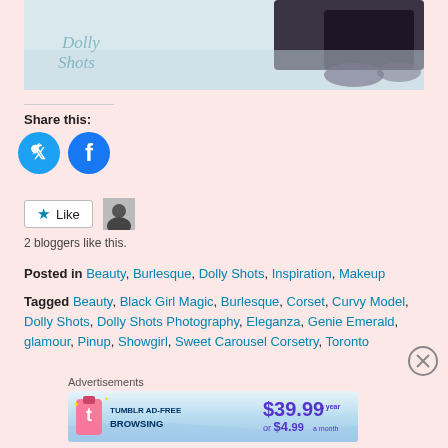[Figure (photo): Bottom portion of a photo with 'Dolly Shots' watermark text, showing a person's feet/shoes on a white furry surface against dark clothing]
Share this:
[Figure (illustration): Twitter and Facebook social share circular buttons in cyan/blue]
[Figure (illustration): Like button with star icon and a small avatar thumbnail]
2 bloggers like this.
Posted in Beauty, Burlesque, Dolly Shots, Inspiration, Makeup
Tagged Beauty, Black Girl Magic, Burlesque, Corset, Curvy Model, Dolly Shots, Dolly Shots Photography, Eleganza, Genie Emerald, glamour, Pinup, Showgirl, Sweet Carousel Corsetry, Toronto
Advertisements
[Figure (illustration): Tumblr Ad-Free Browsing advertisement banner showing $39.99 a year or $4.99 a month]